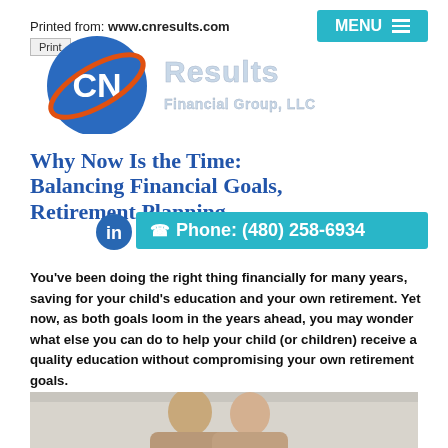Printed from: www.cnresults.com
[Figure (logo): CN Results Financial Group LLC logo — blue circle with CN initials and orange orbit ring, 'Results Financial Group, LLC' text]
Why Now Is the Time:
Balancing Financial Goals,
Retirement Planning
Phone: (480) 258-6934
You’ve been doing the right thing financially for many years, saving for your child’s education and your own retirement. Yet now, as both goals loom in the years ahead, you may wonder what else you can do to help your child (or children) receive a quality education without compromising your own retirement goals.
[Figure (photo): Photo of a couple, a man and woman, from shoulders up]